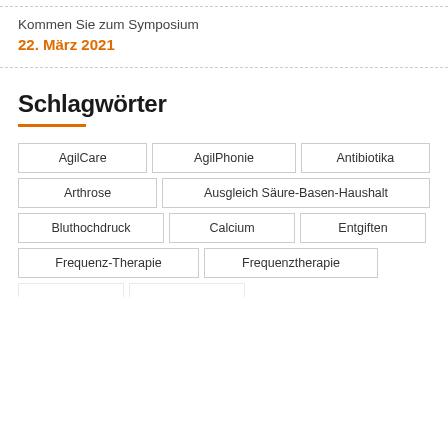Kommen Sie zum Symposium
22. März 2021
Schlagwörter
AgilCare
AgilPhonie
Antibiotika
Arthrose
Ausgleich Säure-Basen-Haushalt
Bluthochdruck
Calcium
Entgiften
Frequenz-Therapie
Frequenztherapie